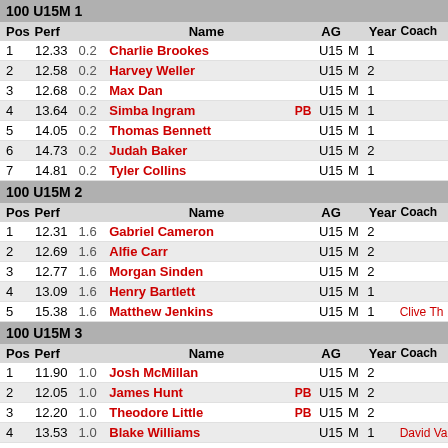100 U15M 1
| Pos | Perf |  | Name |  | AG |  | Year | Coach |
| --- | --- | --- | --- | --- | --- | --- | --- | --- |
| 1 | 12.33 | 0.2 | Charlie Brookes |  | U15 | M | 1 |  |
| 2 | 12.58 | 0.2 | Harvey Weller |  | U15 | M | 2 |  |
| 3 | 12.68 | 0.2 | Max Dan |  | U15 | M | 1 |  |
| 4 | 13.64 | 0.2 | Simba Ingram | PB | U15 | M | 1 |  |
| 5 | 14.05 | 0.2 | Thomas Bennett |  | U15 | M | 1 |  |
| 6 | 14.73 | 0.2 | Judah Baker |  | U15 | M | 2 |  |
| 7 | 14.81 | 0.2 | Tyler Collins |  | U15 | M | 1 |  |
100 U15M 2
| Pos | Perf |  | Name |  | AG |  | Year | Coach |
| --- | --- | --- | --- | --- | --- | --- | --- | --- |
| 1 | 12.31 | 1.6 | Gabriel Cameron |  | U15 | M | 2 |  |
| 2 | 12.69 | 1.6 | Alfie Carr |  | U15 | M | 2 |  |
| 3 | 12.77 | 1.6 | Morgan Sinden |  | U15 | M | 2 |  |
| 4 | 13.09 | 1.6 | Henry Bartlett |  | U15 | M | 1 |  |
| 5 | 15.38 | 1.6 | Matthew Jenkins |  | U15 | M | 1 | Clive Th |
100 U15M 3
| Pos | Perf |  | Name |  | AG |  | Year | Coach |
| --- | --- | --- | --- | --- | --- | --- | --- | --- |
| 1 | 11.90 | 1.0 | Josh McMillan |  | U15 | M | 2 |  |
| 2 | 12.05 | 1.0 | James Hunt | PB | U15 | M | 2 |  |
| 3 | 12.20 | 1.0 | Theodore Little | PB | U15 | M | 2 |  |
| 4 | 13.53 | 1.0 | Blake Williams |  | U15 | M | 1 | David Va |
| 5 | 13.65 | 1.0 | Jacob Barnett | PB | U15 | M | 1 |  |